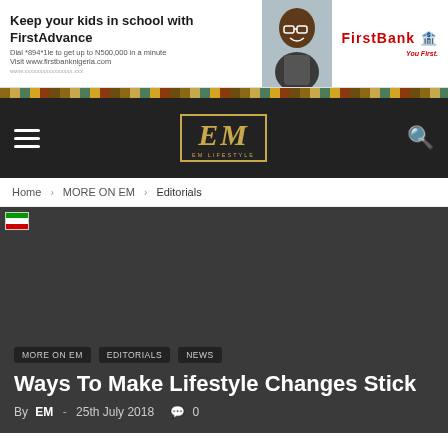[Figure (other): FirstBank FirstAdvance advertisement banner: 'Keep your kids in school with FirstAdvance. Dial *894*11# to get up to N500,000 in a minute. Visit www.firstbanknigeria.com' with a photo of a smiling man and FirstBank logo with tagline 'You First.']
[Figure (other): Decorative repeating patterned stripe in earthy/golden tones]
[Figure (other): EM Lifestyle navigation bar with hamburger menu, EM logo in gold border, and search icon on dark background]
Home > MORE ON EM > Editorials
[Figure (photo): Dark hero image with Nigerian flag icon in top-left corner]
MORE ON EM
Editorials
NEWS
Ways To Make Lifestyle Changes Stick
By EM - 25th July 2018  0